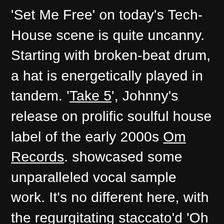'Set Me Free' on today's Tech-House scene is quite uncanny. Starting with broken-beat drum, a hat is energetically played in tandem. 'Take 5', Johnny's release on prolific soulful house label of the early 2000s Om Records. showcased some unparalleled vocal sample work. It's no different here, with the regurgitating staccato'd 'Oh Oh Oh's expertly chopped. Mutated stringed synths pour all over the top. Fiasco cites Michael Jackson's 'Rock With You' as being one of his major influences, and you can certainly hear it here. The Unique Selling Point of the